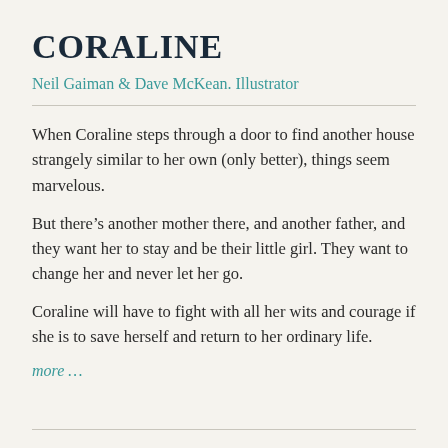CORALINE
Neil Gaiman & Dave McKean. Illustrator
When Coraline steps through a door to find another house strangely similar to her own (only better), things seem marvelous.
But there’s another mother there, and another father, and they want her to stay and be their little girl. They want to change her and never let her go.
Coraline will have to fight with all her wits and courage if she is to save herself and return to her ordinary life.
more …